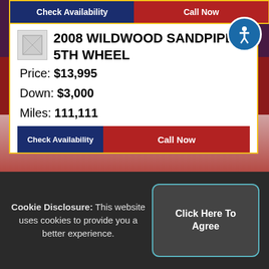Check Availability | Call Now
2008 WILDWOOD SANDPIPER 5TH WHEEL
Price: $13,995
Down: $3,000
Miles: 111,111
Check Availability | Call Now
Payment Information
Cookie Disclosure: This website uses cookies to provide you a better experience.
Click Here To Agree